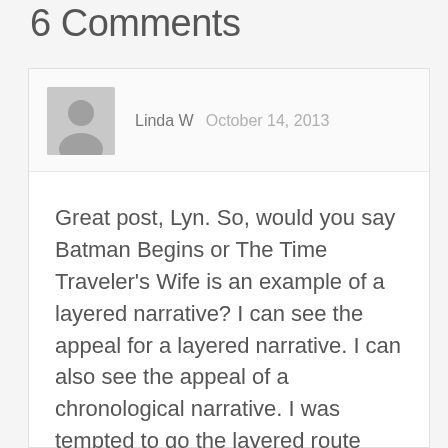6 Comments
Linda W  October 14, 2013
Great post, Lyn. So, would you say Batman Begins or The Time Traveler's Wife is an example of a layered narrative? I can see the appeal for a layered narrative. I can also see the appeal of a chronological narrative. I was tempted to go the layered route with my current story. But I thought it would be too confusing. So, I'm going